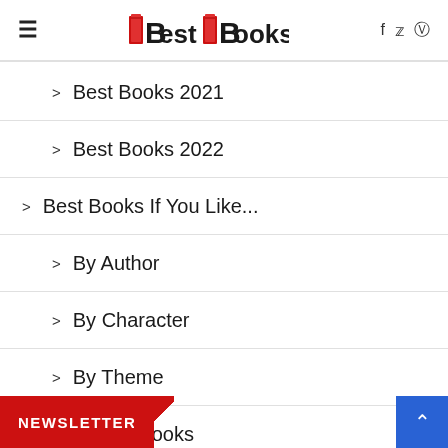BestBooks.net — logo, hamburger menu, social icons (f, twitter, instagram)
> Best Books 2021
> Best Books 2022
> Best Books If You Like...
> By Author
> By Character
> By Theme
> Upcoming Books
NEWSLETTER | scroll-to-top button